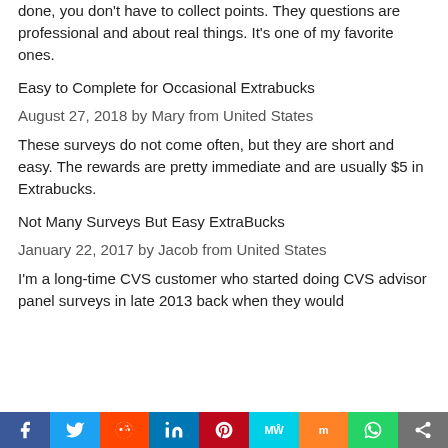done, you don't have to collect points. They questions are professional and about real things. It's one of my favorite ones.
Easy to Complete for Occasional Extrabucks
August 27, 2018 by Mary from United States
These surveys do not come often, but they are short and easy. The rewards are pretty immediate and are usually $5 in Extrabucks.
Not Many Surveys But Easy ExtraBucks
January 22, 2017 by Jacob from United States
I'm a long-time CVS customer who started doing CVS advisor panel surveys in late 2013 back when they would
[Figure (infographic): Social sharing bar with icons for Facebook, Twitter, Reddit, LinkedIn, Pinterest, MeWe, Mix, WhatsApp, and Share]